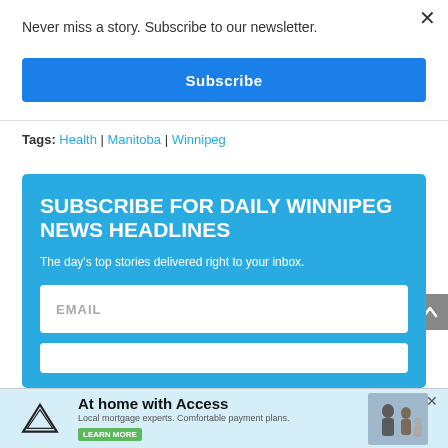×
Never miss a story. Subscribe to our newsletter.
Subscribe
Tags: Health | Manitoba | Winnipeg
SUBSCRIBE FOR DAILY WINNIPEG NEWS HEADLINES
The day's top stories delivered right to your inbox.
EMAIL
[Figure (screenshot): Access Credit Union advertisement: 'At home with Access' with family photo and 'Learn More' button]